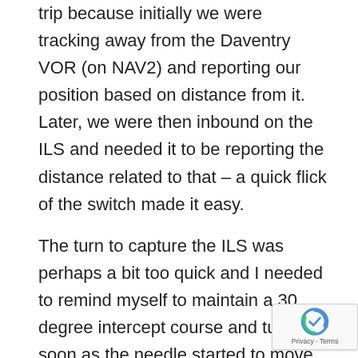trip because initially we were tracking away from the Daventry VOR (on NAV2) and reporting our position based on distance from it. Later, we were then inbound on the ILS and needed it to be reporting the distance related to that – a quick flick of the switch made it easy.
The turn to capture the ILS was perhaps a bit too quick and I needed to remind myself to maintain a 30 degree intercept course and turn as soon as the needle started to move. It's surprising how quickly you forget some of the finer points of the IMC training course. Tracking inbound, we heard over the radio of one aircraft being positioning behind us, another landing VFR in front. I was focussing on ILS needles and tracked these down pretty